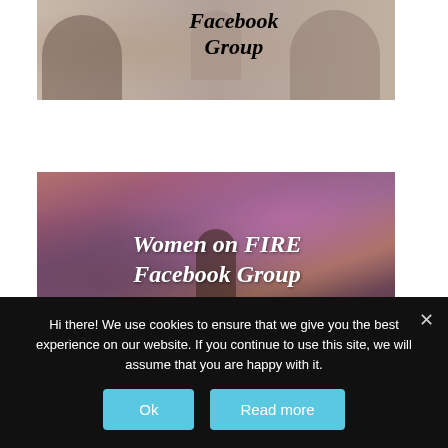[Figure (photo): Photo of two women in a cafe setting with text 'Facebook Group' overlaid in bold italic serif font]
[Figure (photo): Photo of a woman silhouette standing against a colorful city skyline at dusk with text 'Women on FIRE Facebook Group' overlaid in bold italic white serif font]
Hi there! We use cookies to ensure that we give you the best experience on our website. If you continue to use this site, we will assume that you are happy with it.
Ok
Read more